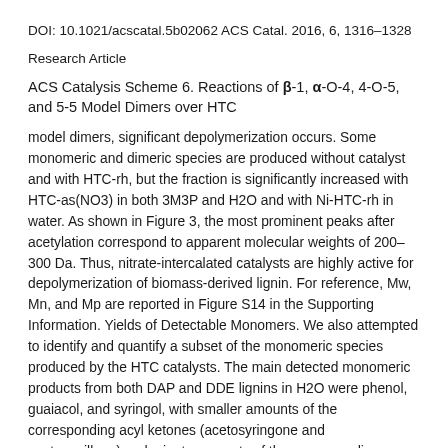DOI: 10.1021/acscatal.5b02062 ACS Catal. 2016, 6, 1316–1328
Research Article
ACS Catalysis Scheme 6. Reactions of β-1, α-O-4, 4-O-5, and 5-5 Model Dimers over HTC
model dimers, significant depolymerization occurs. Some monomeric and dimeric species are produced without catalyst and with HTC-rh, but the fraction is significantly increased with HTC-as(NO3) in both 3M3P and H2O and with Ni-HTC-rh in water. As shown in Figure 3, the most prominent peaks after acetylation correspond to apparent molecular weights of 200– 300 Da. Thus, nitrate-intercalated catalysts are highly active for depolymerization of biomass-derived lignin. For reference, Mw, Mn, and Mp are reported in Figure S14 in the Supporting Information. Yields of Detectable Monomers. We also attempted to identify and quantify a subset of the monomeric species produced by the HTC catalysts. The main detected monomeric products from both DAP and DDE lignins in H2O were phenol, guaiacol, and syringol, with smaller amounts of the corresponding acyl ketones (acetosyringone and acetovanillone) and minute amounts of the corresponding aldehydes (syringaldehyde and vanillin). When the aqueous